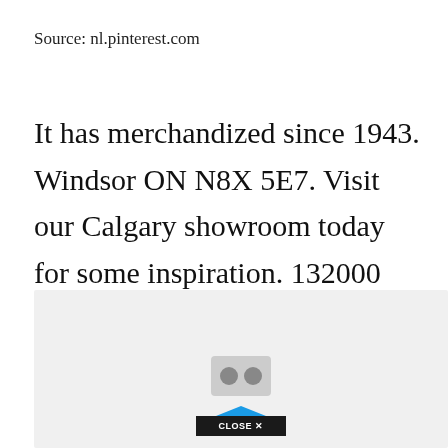Source: nl.pinterest.com
It has merchandized since 1943. Windsor ON N8X 5E7. Visit our Calgary showroom today for some inspiration. 132000 High quality living room table set for sale. Include three pieces Favourite.
[Figure (screenshot): Advertisement box with gray background, a VR headset icon, and a dark CLOSE X button with blue triangle above it at the bottom center.]